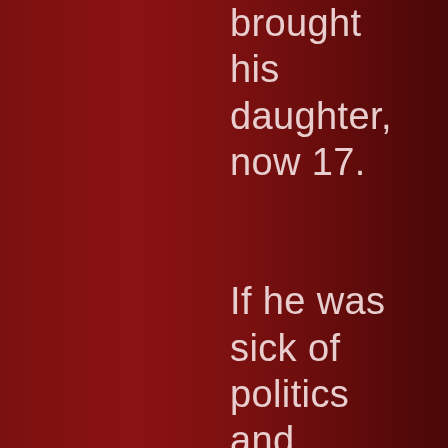brought his daughter, now 17.

If he was sick of politics and pettiness he could hardly put up